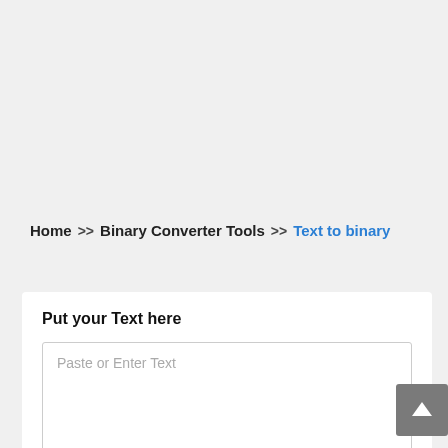Home >> Binary Converter Tools >> Text to binary
Put your Text here
Paste or Enter Text